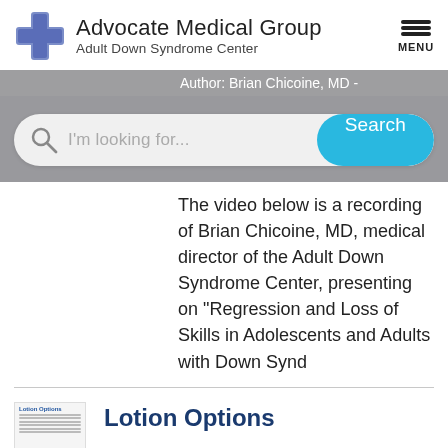[Figure (logo): Advocate Medical Group Adult Down Syndrome Center logo with blue cross icon and menu button]
Author: Brian Chicoine, MD -
[Figure (screenshot): Search bar with 'I'm looking for...' placeholder text and teal Search button]
The video below is a recording of Brian Chicoine, MD, medical director of the Adult Down Syndrome Center, presenting on "Regression and Loss of Skills in Adolescents and Adults with Down Synd
[Figure (thumbnail): Small thumbnail image with 'Lotion Options' text label]
Lotion Options